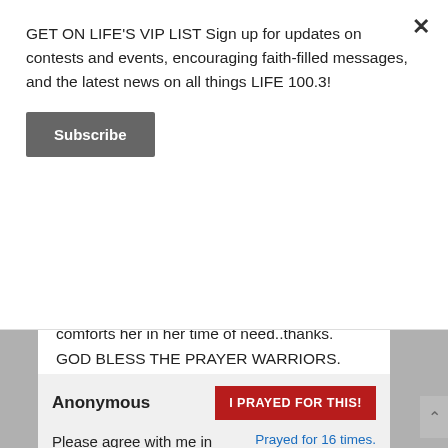GET ON LIFE'S VIP LIST Sign up for updates on contests and events, encouraging faith-filled messages, and the latest news on all things LIFE 100.3!
Subscribe
comforts her in her time of need..thanks.
GOD BLESS THE PRAYER WARRIORS.
Posted on April 16th, 2020
Anonymous
I PRAYED FOR THIS!
Prayed for 16 times.
Please agree with me in prayer for God to give me a forgiving heart. Thank you!